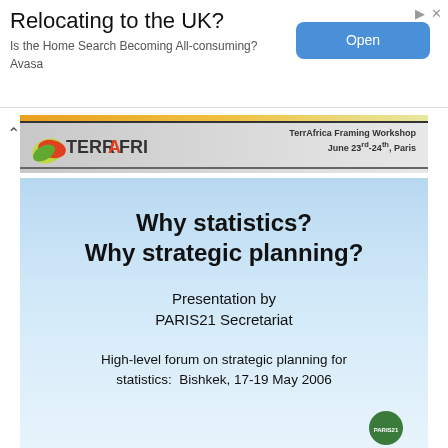Relocating to the UK?
Is the Home Search Becoming All-consuming?
Avasa
[Figure (illustration): Advertisement banner with 'Open' button for Avasa UK relocation service]
[Figure (logo): TerrAfrica logo with orange-gold gradient top bar, black divider, TerrAfrica branding and text 'TerrAfrica Framing Workshop June 23rd-24th, Paris']
Why statistics? Why strategic planning?
Presentation by
PARIS21 Secretariat
High-level forum on strategic planning for statistics:  Bishkek, 17-19 May 2006